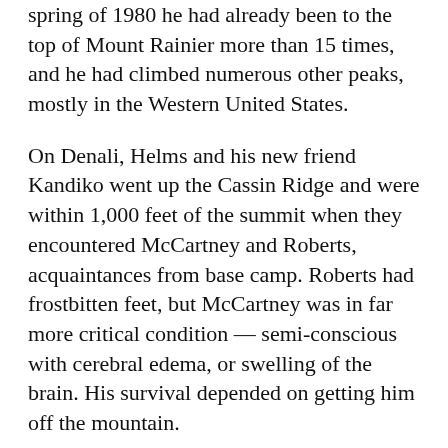spring of 1980 he had already been to the top of Mount Rainier more than 15 times, and he had climbed numerous other peaks, mostly in the Western United States.
On Denali, Helms and his new friend Kandiko went up the Cassin Ridge and were within 1,000 feet of the summit when they encountered McCartney and Roberts, acquaintances from base camp. Roberts had frostbitten feet, but McCartney was in far more critical condition — semi-conscious with cerebral edema, or swelling of the brain. His survival depended on getting him off the mountain.
In the tent where McCartney lay, the men conferred. Because they had no radio, it was decided that one person would stay with McCartney while the other two went for help. Since Helms knew the preferred